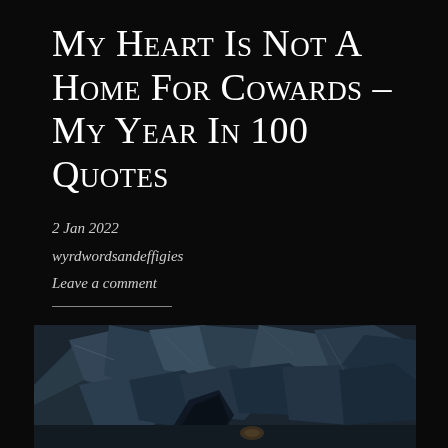My Heart Is Not A Home For Cowards – My Year In 100 Quotes
2 Jan 2022
wyrdwordsandeffigies
Leave a comment
[Figure (photo): Dark moody photograph of large rocky boulders with a dark cloaked figure visible among the rocks]